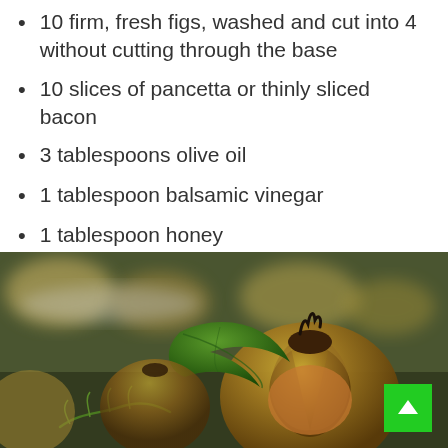10 firm, fresh figs, washed and cut into 4 without cutting through the base
10 slices of pancetta or thinly sliced bacon
3 tablespoons olive oil
1 tablespoon balsamic vinegar
1 tablespoon honey
1 – 2 tablespoons chopped hazelnuts
[Figure (photo): Close-up photo of roasted figs with herbs on a dark surface, with blurred plated figs in the background]